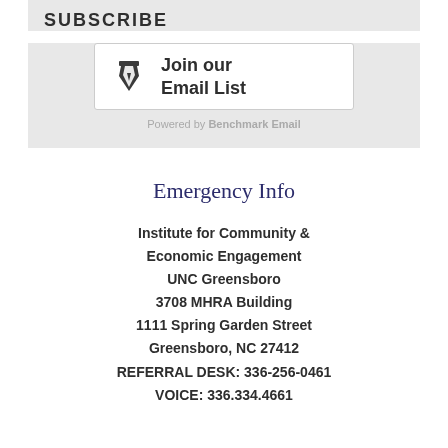SUBSCRIBE
[Figure (other): Email signup button with pen icon reading 'Join our Email List', with 'Powered by Benchmark Email' caption below]
Emergency Info
Institute for Community & Economic Engagement
UNC Greensboro
3708 MHRA Building
1111 Spring Garden Street
Greensboro, NC 27412
REFERRAL DESK: 336-256-0461
VOICE: 336.334.4661